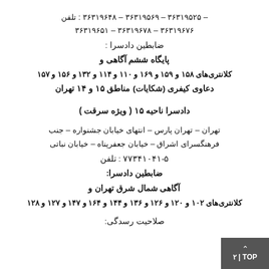تلفن : ۳۶۳۱۹۶۴۸ – ۳۶۳۱۹۵۶۹ – ۳۶۳۱۹۵۲۵ – ۳۶۳۱۹۶۵۱ – ۳۶۳۱۹۶۷۸ – ۳۶۳۱۹۶۷۶
ضابطین دادسرا :
پایگاه ششم آگاهی و
کلانتری‌های ۱۵۸ و ۱۵۹ و ۱۶۹ و ۱۱۰ و ۱۱۴ و ۱۳۲ و ۱۵۶ و ۱۵۷
دعاوی کیفری (شکایات) مناطق ۱۵ و ۱۴ تهران
دادسرا ناحیه ۱۵ ( ویژه سرقت )
تهران – تهران پارس – انتهای خیابان جشنواره – جنب فرهنگسرای اشراق – خیابان جعفرپناه – خیابان نباتی
تلفن : ۷۷۳۴۱۰۴۱-۵
ضابطین دادسرا:
آگاهی شمال شرق تهران و
کلانتری‌های ۱۰۲ و ۱۲۰ و ۱۲۶ و ۱۳۶ و ۱۴۴ و ۱۶۴ و ۱۴۷ و ۱۲۷ و ۱۲۸
صلاحیت رسدگی: